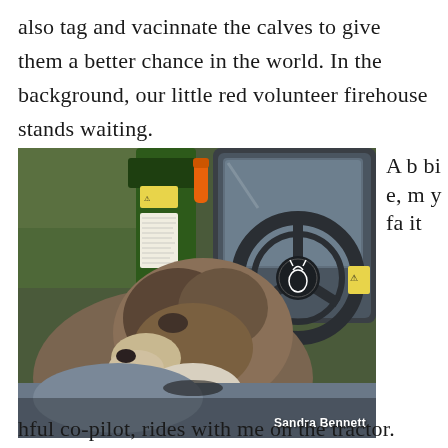also tag and vacinnate the calves to give them a better chance in the world. In the background, our little red volunteer firehouse stands waiting.
[Figure (photo): A dog (Abbie) sitting in the cab of a green John Deere tractor, with the tractor steering wheel visible. Photo credit: Sandra Bennett.]
Abbie, my faithful co-pilot, rides with me on the tractor.